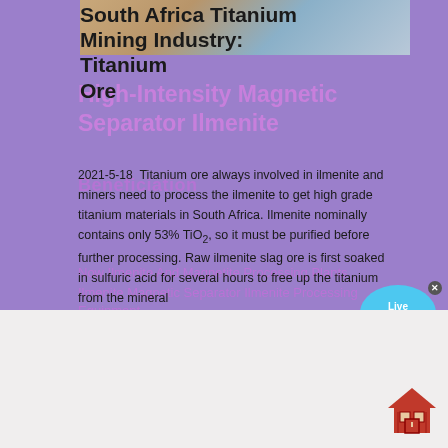South Africa Titanium Mining Industry: Titanium Ore
High-Intensity Magnetic Separator Ilmenite
Beneficiation
2021-5-18  Titanium ore always involved in ilmenite and miners need to process the ilmenite to get high grade titanium materials in South Africa. Ilmenite nominally contains only 53% TiO2, so it must be purified before further processing. Raw ilmenite slag ore is first soaked in sulfuric acid for several hours to free up the titanium from the mineral
Now Ilmenite And Magnetite Processing Plants
Ilmenite Magnetic Separator Ilmenite Processing Equipment